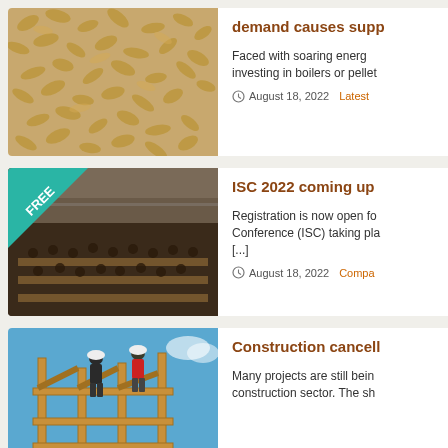[Figure (photo): Close-up photo of wood pellets]
demand causes supp...
Faced with soaring energy costs, investing in boilers or pellet...
August 18, 2022   Latest...
[Figure (photo): Conference room filled with attendees seated at long tables, FREE badge in top-left corner]
ISC 2022 coming up...
Registration is now open for the Conference (ISC) taking place... [...]
August 18, 2022   Compa...
[Figure (photo): Two construction workers on a wooden frame structure against a blue sky]
Construction cancell...
Many projects are still being... construction sector. The sh...